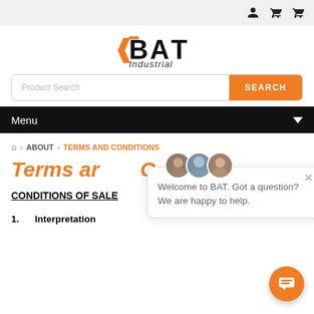[Figure (screenshot): Website header with user and cart icons on a light grey top bar]
[Figure (logo): BAT Industrial logo — orange and black stylized BAT text with 'Industrial' in italic below]
Product Search
SEARCH
Menu
ABOUT > TERMS AND CONDITIONS
Terms and Conditions
Welcome to BAT. Got a question? We are happy to help.
CONDITIONS OF SALE
1.    Interpretation